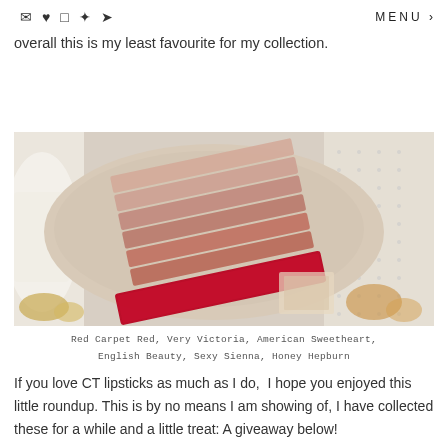MENU
colour on me is a little more orangey but overall this is my least favourite for my collection.
[Figure (photo): A forearm with multiple lipstick swatches applied in horizontal stripes, ranging from nude/mauve shades at the top to a bold red at the bottom. Background includes white fabric and decorative props.]
Red Carpet Red, Very Victoria, American Sweetheart, English Beauty, Sexy Sienna, Honey Hepburn
If you love CT lipsticks as much as I do,  I hope you enjoyed this little roundup. This is by no means I am showing of, I have collected these for a while and a little treat: A giveaway below!